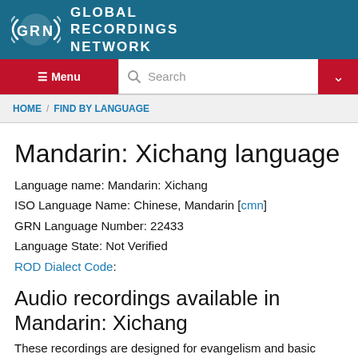[Figure (logo): Global Recordings Network logo with GRN initials and radio wave graphic, white on teal background]
Menu | Search | dropdown
HOME / FIND BY LANGUAGE
Mandarin: Xichang language
Language name: Mandarin: Xichang
ISO Language Name: Chinese, Mandarin [cmn]
GRN Language Number: 22433
Language State: Not Verified
ROD Dialect Code:
Audio recordings available in Mandarin: Xichang
These recordings are designed for evangelism and basic